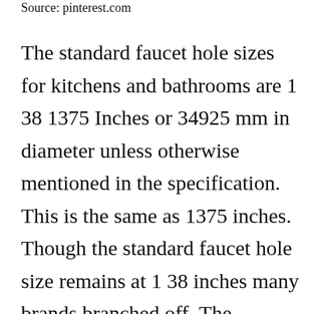Source: pinterest.com
The standard faucet hole sizes for kitchens and bathrooms are 1 38 1375 Inches or 34925 mm in diameter unless otherwise mentioned in the specification. This is the same as 1375 inches. Though the standard faucet hole size remains at 1 38 inches many brands branched off. The standard faucet hole sizes for kitchens and bathrooms are 1 38 1375 Inches or 34925 mm in diameter unless otherwise mentioned in the specification. On a [CLOSE X] al level the